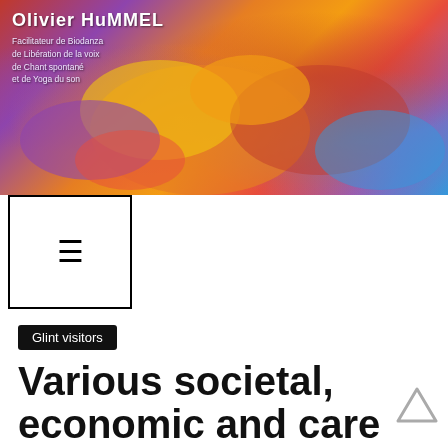[Figure (photo): Colorful Holi powder in cupped hands, with purple, yellow, orange, red, blue colors — decorative header banner for a website]
Olivier HuMMEL
Facilitateur de Biodanza
de Libération de la voix
de Chant spontané
et de Yoga du son
[Figure (other): Navigation hamburger menu icon (three horizontal lines) inside a square bordered box]
Glint visitors
Various societal, economic and care about-actualisation motorists and you will desires composed a lot of this alter